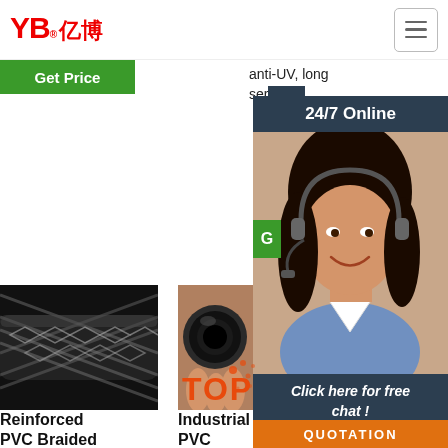[Figure (logo): YB亿博 company logo in red Chinese/English style]
[Figure (screenshot): Green Get Price button, partially visible, cut off at top]
anti-UV, long ser...
24/7 Online
[Figure (photo): Customer service woman wearing headset, smiling]
Click here for free chat !
QUOTATION
[Figure (photo): Reinforced PVC Braided hose close-up]
[Figure (photo): Industrial PVC Hose cross-section held in hand]
[Figure (photo): Rubber Air Hose partially visible]
Reinforced PVC Braided Air & Water
Industrial PVC Hose Catalogue -
Rubber Air Hose
2021-9-